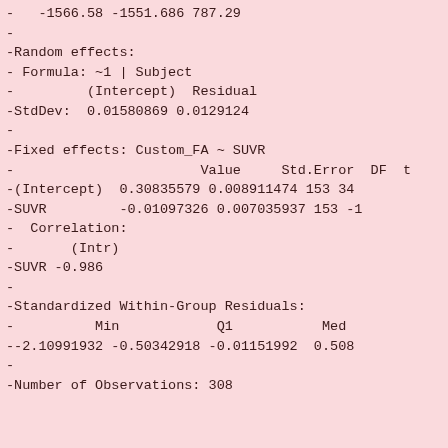-   -1566.58 -1551.686 787.29
-
-Random effects:
- Formula: ~1 | Subject
-         (Intercept)  Residual
-StdDev:  0.01580869 0.0129124
-
-Fixed effects: Custom_FA ~ SUVR
-                          Value     Std.Error  DF  t
-(Intercept)  0.30835579 0.008911474 153 34
-SUVR         -0.01097326 0.007035937 153 -1
-  Correlation:
-       (Intr)
-SUVR -0.986
-
-Standardized Within-Group Residuals:
-          Min              Q1             Med
--2.10991932 -0.50342918 -0.01151992  0.508
-
-Number of Observations: 308